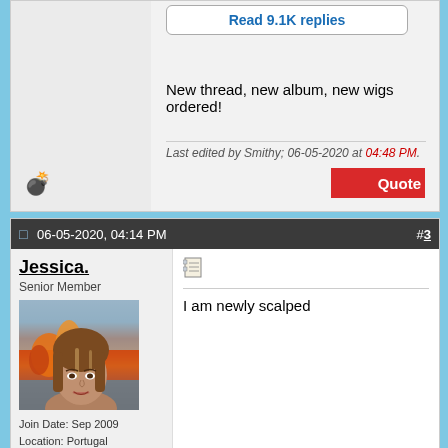Read 9.1K replies
New thread, new album, new wigs ordered!
Last edited by Smithy; 06-05-2020 at 04:48 PM.
06-05-2020, 04:14 PM
#3
Jessica.
Senior Member
[Figure (photo): Avatar photo of user Jessica showing a woman with long brown highlighted hair in front of a burning building scene (disaster girl meme)]
Join Date: Sep 2009
Location: Portugal
Posts: 24,050
I am newly scalped